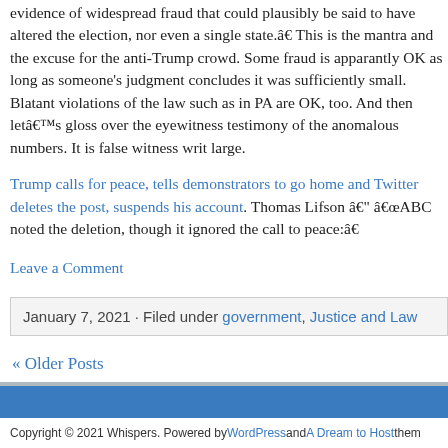evidence of widespread fraud that could plausibly be said to have altered the election, nor even a single state.” This is the mantra and the excuse for the anti-Trump crowd. Some fraud is apparantly OK as long as someone’s judgment concludes it was sufficiently small. Blatant violations of the law such as in PA are OK, too. And then let’s gloss over the eyewitness testimony of the anomalous numbers. It is false witness writ large.
Trump calls for peace, tells demonstrators to go home and Twitter deletes the post, suspends his account. Thomas Lifson – “ABC noted the deletion, though it ignored the call to peace:”
Leave a Comment
January 7, 2021 · Filed under government, Justice and Law
« Older Posts
Copyright © 2021 Whispers. Powered by WordPress and A Dream to Host theme